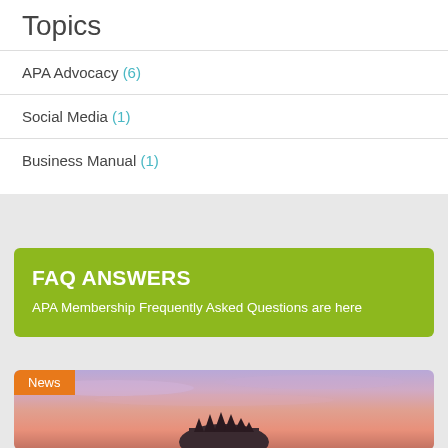Topics
APA Advocacy (6)
Social Media (1)
Business Manual (1)
FAQ ANSWERS
APA Membership Frequently Asked Questions are here
[Figure (photo): Sunset landscape photo with purple and pink sky, silhouette of trees on a small hillside, warm orange and red tones near horizon. Orange 'News' label badge in top-left corner.]